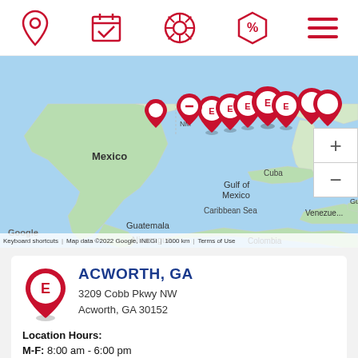[Figure (screenshot): Mobile app top navigation bar with five red icons: location pin, calendar with checkmark, tire/wheel, price tag with percent, and hamburger menu]
[Figure (map): Google Maps screenshot showing North America, Gulf of Mexico, Cuba, Caribbean Sea, Central America, and northern South America. Multiple red Expressway Tires location pins clustered in the southeastern US. Countries and regions labeled: NM, CA, FL, Mexico, Cuba, Puerto Rico, Guatemala, Nicaragua, Venezuela, Colombia, Guyana. Map data ©2022 Google, INEGI. 1000 km scale bar shown. Keyboard shortcuts and Terms of Use links visible.]
ACWORTH, GA
3209 Cobb Pkwy NW
Acworth, GA 30152
Location Hours:
M-F: 8:00 am - 6:00 pm